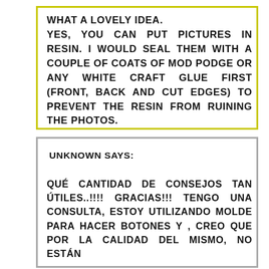WHAT A LOVELY IDEA. YES, YOU CAN PUT PICTURES IN RESIN. I WOULD SEAL THEM WITH A COUPLE OF COATS OF MOD PODGE OR ANY WHITE CRAFT GLUE FIRST (FRONT, BACK AND CUT EDGES) TO PREVENT THE RESIN FROM RUINING THE PHOTOS.
UNKNOWN SAYS:
QUÉ CANTIDAD DE CONSEJOS TAN ÚTILES..!!!! GRACIAS!!! TENGO UNA CONSULTA, ESTOY UTILIZANDO MOLDE PARA HACER BOTONES Y , CREO QUE POR LA CALIDAD DEL MISMO, NO ESTÁN